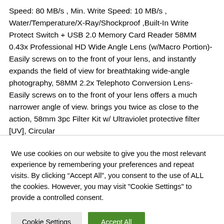Speed: 80 MB/s , Min. Write Speed: 10 MB/s , Water/Temperature/X-Ray/Shockproof ,Built-In Write Protect Switch + USB 2.0 Memory Card Reader 58MM 0.43x Professional HD Wide Angle Lens (w/Macro Portion)- Easily screws on to the front of your lens, and instantly expands the field of view for breathtaking wide-angle photography, 58MM 2.2x Telephoto Conversion Lens- Easily screws on to the front of your lens offers a much narrower angle of view. brings you twice as close to the action, 58mm 3pc Filter Kit w/ Ultraviolet protective filter [UV], Circular
We use cookies on our website to give you the most relevant experience by remembering your preferences and repeat visits. By clicking "Accept All", you consent to the use of ALL the cookies. However, you may visit "Cookie Settings" to provide a controlled consent.
Cookie Settings
Accept All